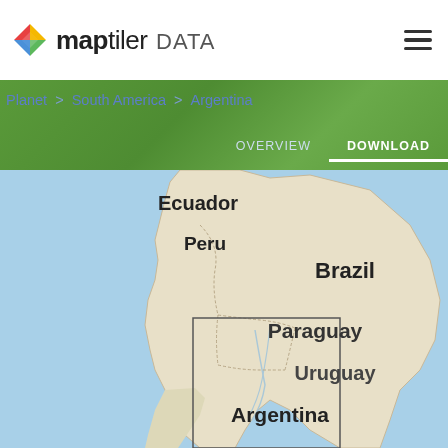maptiler DATA
Planet > South America > Argentina
OVERVIEW  DOWNLOAD
[Figure (map): Map of South America showing Argentina highlighted with a bounding box. Country labels visible: Ecuador, Peru, Brazil, Paraguay, Uruguay, Argentina. Light blue ocean surrounds the beige/tan landmass.]